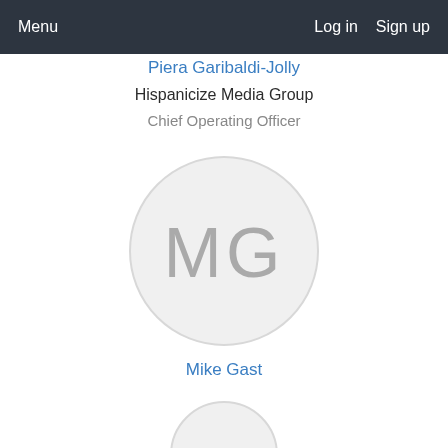Menu   Log in   Sign up
Piera Garibaldi-Jolly
Hispanicize Media Group
Chief Operating Officer
[Figure (illustration): Circular avatar placeholder with initials MG in gray on light gray background]
Mike Gast
[Figure (illustration): Partial circular avatar placeholder at bottom of page, cut off]